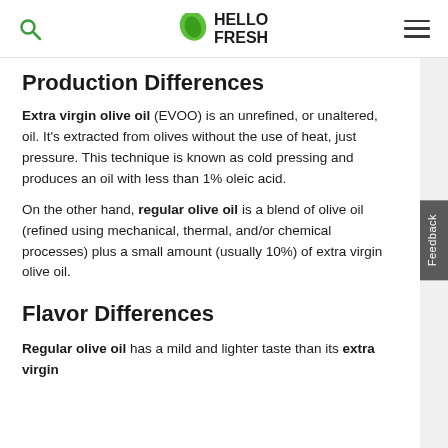HelloFresh
Production Differences
Extra virgin olive oil (EVOO) is an unrefined, or unaltered, oil. It's extracted from olives without the use of heat, just pressure. This technique is known as cold pressing and produces an oil with less than 1% oleic acid.
On the other hand, regular olive oil is a blend of olive oil (refined using mechanical, thermal, and/or chemical processes) plus a small amount (usually 10%) of extra virgin olive oil.
Flavor Differences
Regular olive oil has a mild and lighter taste than its extra virgin